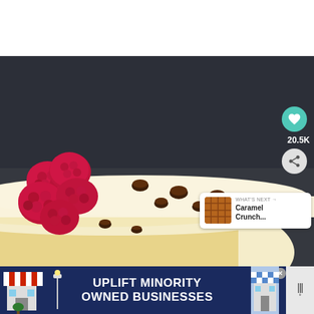[Figure (photo): Close-up photo of a cheesecake slice topped with fresh raspberries and chocolate chips, on a dark slate background. A heart/like button showing 20.5K likes and a share button are overlaid on the right side.]
WHAT'S NEXT → Caramel Crunch...
[Figure (photo): Advertisement banner: UPLIFT MINORITY OWNED BUSINESSES with illustrated storefront graphics on left and right sides, and a weather widget on the far right.]